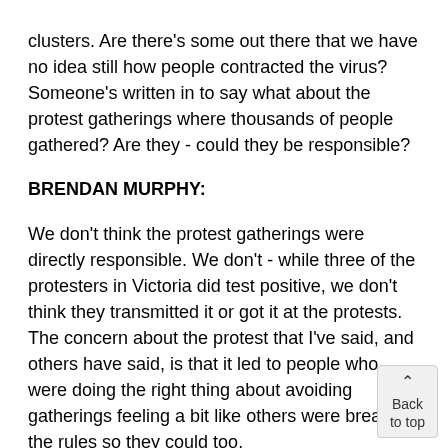clusters. Are there's some out there that we have no idea still how people contracted the virus? Someone's written in to say what about the protest gatherings where thousands of people gathered? Are they - could they be responsible?
BRENDAN MURPHY:
We don't think the protest gatherings were directly responsible. We don't - while three of the protesters in Victoria did test positive, we don't think they transmitted it or got it at the protests. The concern about the protest that I've said, and others have said, is that it led to people who were doing the right thing about avoiding gatherings feeling a bit like others were breaking the rules so they could too.
So I think the protest set a bad example for others and maybe have contributed to people gathering in larger numbers - we don't know that for sure. But there are cases in Victoria where at the moment they don't kno...